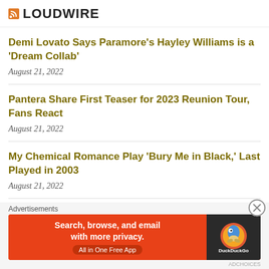LOUDWIRE
Demi Lovato Says Paramore's Hayley Williams is a 'Dream Collab'
August 21, 2022
Pantera Share First Teaser for 2023 Reunion Tour, Fans React
August 21, 2022
My Chemical Romance Play 'Bury Me in Black,' Last Played in 2003
August 21, 2022
32 Years Ago: Anthrax Release 'Persistence of
[Figure (screenshot): DuckDuckGo advertisement banner: orange background with text 'Search, browse, and email with more privacy. All in One Free App' and DuckDuckGo logo on dark right panel]